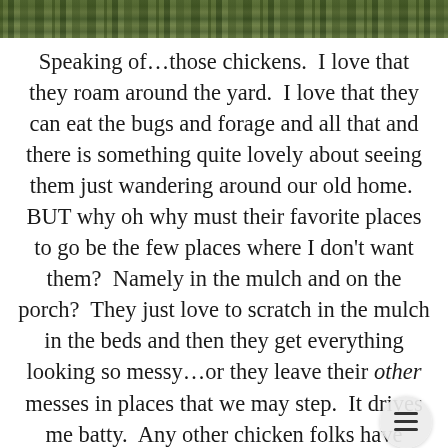[Figure (photo): Partial photo strip at top showing green foliage/garden background]
Speaking of…those chickens.  I love that they roam around the yard.  I love that they can eat the bugs and forage and all that and there is something quite lovely about seeing them just wandering around our old home.  BUT why oh why must their favorite places to go be the few places where I don't want them?  Namely in the mulch and on the porch?  They just love to scratch in the mulch in the beds and then they get everything looking so messy…or they leave their other messes in places that we may step.  It drives me batty.  Any other chicken folks have tricks (besides fencing) to keep them out of certain areas??